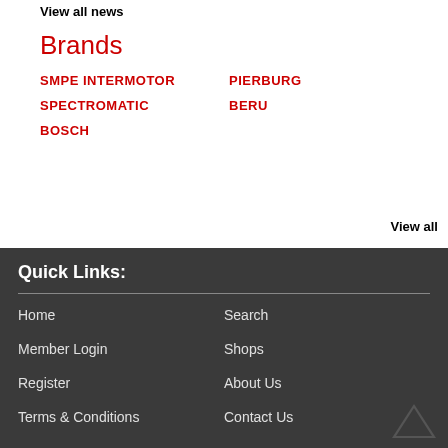View all news
Brands
SMPE INTERMOTOR
PIERBURG
SPECTROMATIC
BERU
BOSCH
View all
Quick Links:
Home
Search
Member Login
Shops
Register
About Us
Terms & Conditions
Contact Us